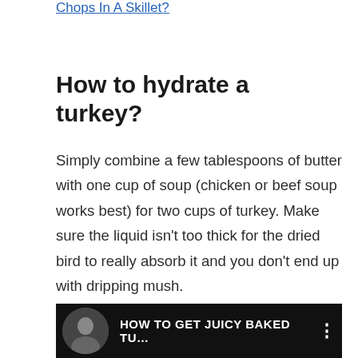Chops In A Skillet?
How to hydrate a turkey?
Simply combine a few tablespoons of butter with one cup of soup (chicken or beef soup works best) for two cups of turkey. Make sure the liquid isn’t too thick for the dried bird to really absorb it and you don’t end up with dripping mush.
[Figure (screenshot): Video thumbnail with black background, circular avatar of a woman, text reading HOW TO GET JUICY BAKED TU... and a vertical dots menu icon]